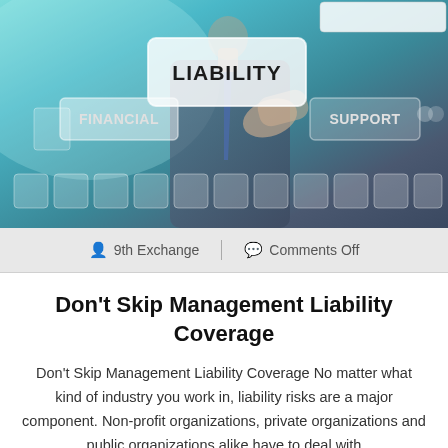[Figure (photo): A businessman pressing a glowing 'LIABILITY' button on a virtual interface screen, with other buttons visible including 'FINANCIAL' and 'SUPPORT', along with a row of smaller icon buttons at the bottom. The background is a teal/blue gradient.]
9th Exchange  |  Comments Off
Don't Skip Management Liability Coverage
Don't Skip Management Liability Coverage No matter what kind of industry you work in, liability risks are a major component. Non-profit organizations, private organizations and public organizations alike have to deal with